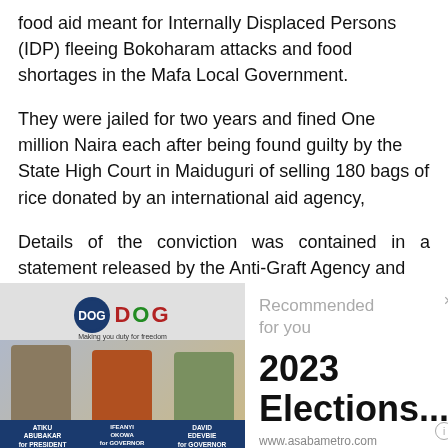food aid meant for Internally Displaced Persons (IDP) fleeing Bokoharam attacks and food shortages in the Mafa Local Government.
They were jailed for two years and fined One million Naira each after being found guilty by the State High Court in Maiduguri of selling 180 bags of rice donated by an international aid agency,
Details of the conviction was contained in a statement released by the Anti-Graft Agency and
[Figure (photo): Political advertisement for Delta Oniet Group (DOG) showing three politicians: Atiku Abubakar for President, Ifeanyi Okowa for Governor, and David Edevbie for Governor, against a dark blue background.]
Recommended for you
2023 Elections...
www.asabametro.com